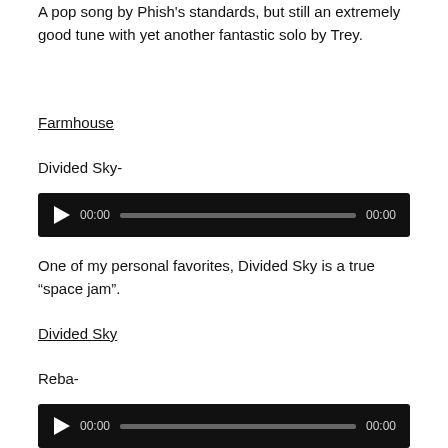A pop song by Phish's standards, but still an extremely good tune with yet another fantastic solo by Trey.
Farmhouse
Divided Sky-
[Figure (other): Audio player widget with play button, 00:00 time display, progress bar, and 00:00 duration]
One of my personal favorites, Divided Sky is a true “space jam”.
Divided Sky
Reba-
[Figure (other): Audio player widget with play button, 00:00 time display, progress bar, and 00:00 duration]